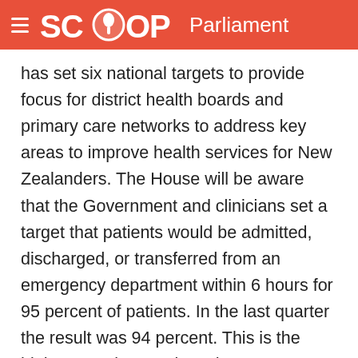SCOOP Parliament
has set six national targets to provide focus for district health boards and primary care networks to address key areas to improve health services for New Zealanders. The House will be aware that the Government and clinicians set a target that patients would be admitted, discharged, or transferred from an emergency department within 6 hours for 95 percent of patients. In the last quarter the result was 94 percent. This is the highest result ever since the targets began. The doctors and nurses in emergency departments across the country, supported by their colleagues in the hospitals, are providing faster health care than ever before.